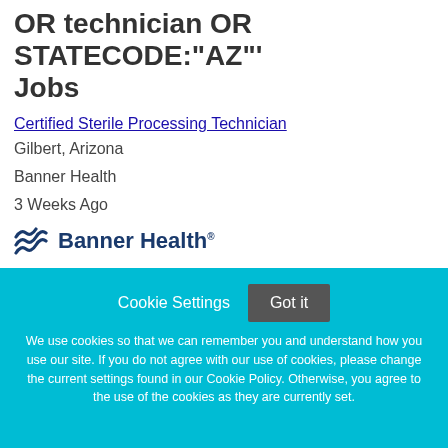sterile OR processing OR technician OR STATECODE:"AZ"' Jobs
Certified Sterile Processing Technician
Gilbert, Arizona
Banner Health
3 Weeks Ago
[Figure (logo): Banner Health logo with wave icon and text]
Certified Sterile Processing Technician
Tucson, Arizona
Cookie Settings  Got it
We use cookies so that we can remember you and understand how you use our site. If you do not agree with our use of cookies, please change the current settings found in our Cookie Policy. Otherwise, you agree to the use of the cookies as they are currently set.